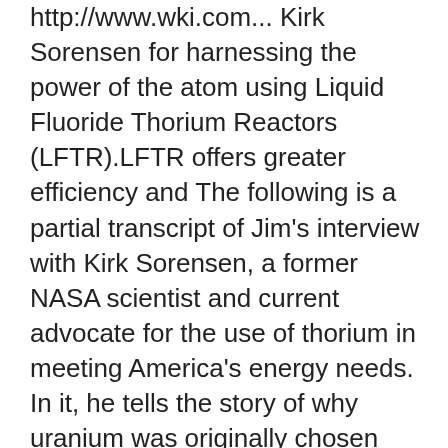http://www.wki.com... Kirk Sorensen for harnessing the power of the atom using Liquid Fluoride Thorium Reactors (LFTR).LFTR offers greater efficiency and The following is a partial transcript of Jim's interview with Kirk Sorensen, a former NASA scientist and current advocate for the use of thorium in meeting America's energy needs. In it, he tells the story of why uranium was originally chosen over thorium and how both China and India are already leading the way in this new technology Kirk Sorensen: Thorium, an alternative nuclear fuel | Video on TED.com TED Talks At TEDxYYC Kirk Sorensen shows us the liquid fuel thorium reactor -- a way to produce energy that is safer, cleaner and more efficient than current nuclear power. 2015-06-06 · Kirk Sorensen on Energy from Thorium. Search.